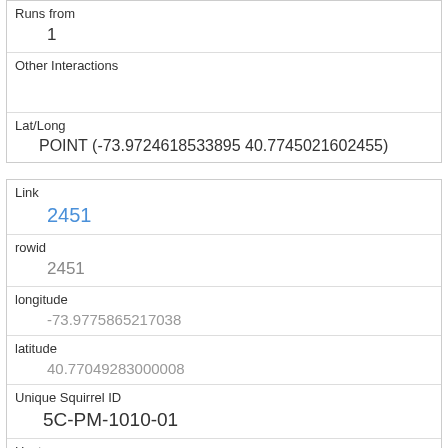| Runs from | 1 |
| Other Interactions |  |
| Lat/Long | POINT (-73.9724618533895 40.7745021602455) |
| Link | 2451 |
| rowid | 2451 |
| longitude | -73.9775865217038 |
| latitude | 40.77049283000008 |
| Unique Squirrel ID | 5C-PM-1010-01 |
| Hectare | 05C |
| Shift | PM |